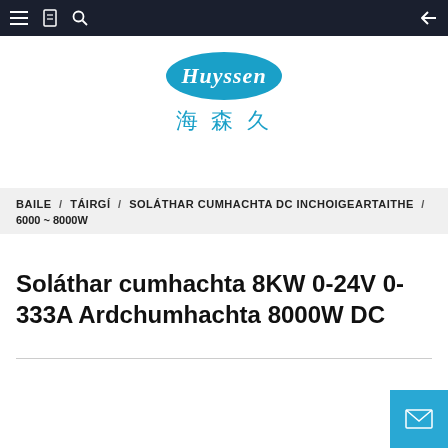Navigation bar with menu, bookmark, search icons and back arrow
[Figure (logo): Huyssen brand logo: blue oval with 'Huyssen' in white script, and Chinese characters '海森久' below in blue]
BAILE / TÁIRGÍ / SOLÁTHAR CUMHACHTA DC INCHOIGEARTAITHE / 6000 ~ 8000W
Soláthar cumhachta 8KW 0-24V 0-333A Ardchumhachta 8000W DC